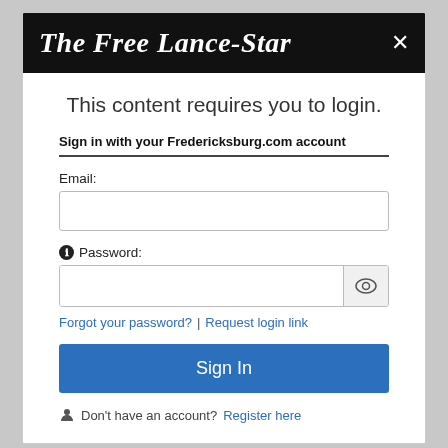The Free Lance-Star
This content requires you to login.
Sign in with your Fredericksburg.com account
Email:
Password:
Forgot your password? | Request login link
Sign In
Don't have an account? Register here